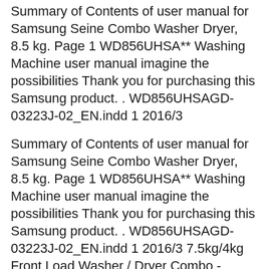Summary of Contents of user manual for Samsung Seine Combo Washer Dryer, 8.5 kg. Page 1 WD856UHSA** Washing Machine user manual imagine the possibilities Thank you for purchasing this Samsung product. . WD856UHSAGD-03223J-02_EN.indd 1 2016/3
Summary of Contents of user manual for Samsung Seine Combo Washer Dryer, 8.5 kg. Page 1 WD856UHSA** Washing Machine user manual imagine the possibilities Thank you for purchasing this Samsung product. . WD856UHSAGD-03223J-02_EN.indd 1 2016/3 7.5kg/4kg Front Load Washer / Dryer Combo - WD75J5410AW. Solutions